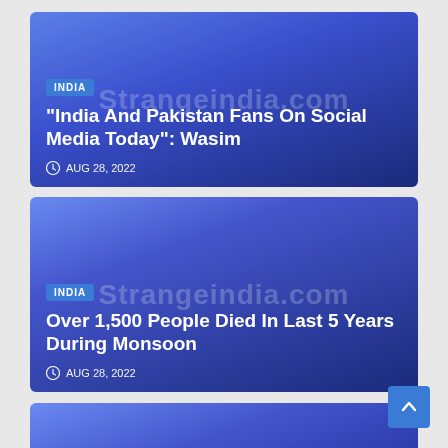[Figure (screenshot): News card with blue gradient background showing India category badge and article title about India and Pakistan fans on social media, dated AUG 28, 2022]
“India And Pakistan Fans On Social Media Today”: Wasim
AUG 28, 2022
[Figure (screenshot): News card with blue gradient background showing India category badge and article title about over 1,500 people died in last 5 years during monsoon, dated AUG 28, 2022]
Over 1,500 People Died In Last 5 Years During Monsoon
AUG 28, 2022